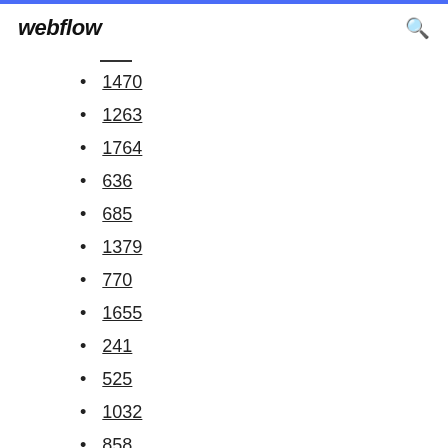webflow
1470
1263
1764
636
685
1379
770
1655
241
525
1032
858